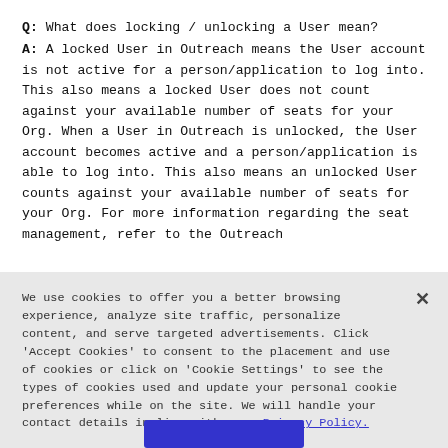Q: What does locking / unlocking a User mean?
A: A locked User in Outreach means the User account is not active for a person/application to log into. This also means a locked User does not count against your available number of seats for your Org. When a User in Outreach is unlocked, the User account becomes active and a person/application is able to log into. This also means an unlocked User counts against your available number of seats for your Org. For more information regarding the seat management, refer to the Outreach
We use cookies to offer you a better browsing experience, analyze site traffic, personalize content, and serve targeted advertisements. Click 'Accept Cookies' to consent to the placement and use of cookies or click on 'Cookie Settings' to see the types of cookies used and update your personal cookie preferences while on the site. We will handle your contact details in line with our  Privacy Policy.